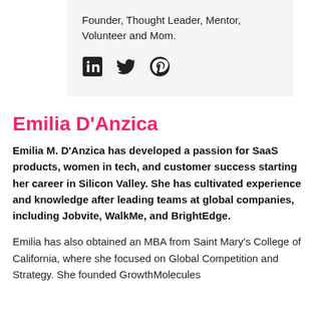Founder, Thought Leader, Mentor, Volunteer and Mom.
[Figure (illustration): Social media icons: LinkedIn, Twitter, Pinterest]
Emilia D'Anzica
Emilia M. D'Anzica has developed a passion for SaaS products, women in tech, and customer success starting her career in Silicon Valley. She has cultivated experience and knowledge after leading teams at global companies, including Jobvite, WalkMe, and BrightEdge.
Emilia has also obtained an MBA from Saint Mary's College of California, where she focused on Global Competition and Strategy. She founded GrowthMolecules